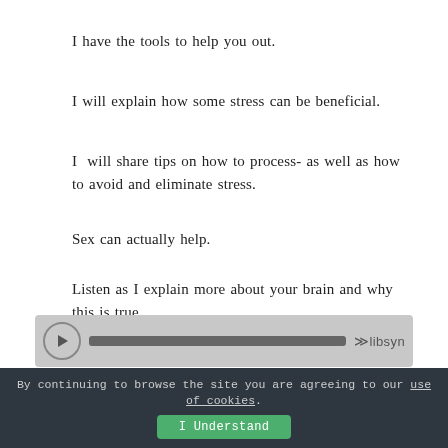I have the tools to help you out.
I will explain how some stress can be beneficial.
I  will share tips on how to process- as well as how to avoid and eliminate stress.
Sex can actually help.
Listen as I explain more about your brain and why this is true.
[Figure (other): Audio player bar with play button, progress track, and libsyn branding]
By continuing to browse the site you are agreeing to our use of cookies.
I Understand